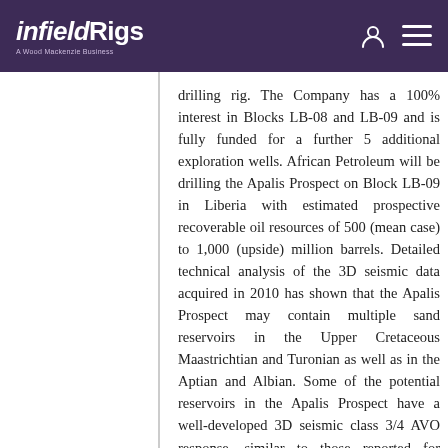infieldRigs — A Wood Mackenzie Business
drilling rig. The Company has a 100% interest in Blocks LB-08 and LB-09 and is fully funded for a further 5 additional exploration wells. African Petroleum will be drilling the Apalis Prospect on Block LB-09 in Liberia with estimated prospective recoverable oil resources of 500 (mean case) to 1,000 (upside) million barrels. Detailed technical analysis of the 3D seismic data acquired in 2010 has shown that the Apalis Prospect may contain multiple sand reservoirs in the Upper Cretaceous Maastrichtian and Turonian as well as in the Aptian and Albian. Some of the potential reservoirs in the Apalis Prospect have a well-developed 3D seismic class 3/4 AVO response, similar to those reported for nearby discoveries in Sierra Leone and Ghana. Due to the tightening rig market and limited availability of deepwater 5th generation drilling rigs in the West African region, African Petroleum has entered into agreements with Lukoil Overseas Cote d'Ivoire E&P Ltd (Lukoil), Vanco Cote d'Ivoire Ltd (Vanco) and AP